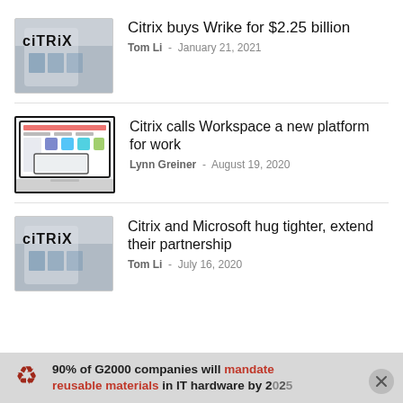[Figure (photo): Citrix building signage photo thumbnail]
Citrix buys Wrike for $2.25 billion
Tom Li - January 21, 2021
[Figure (screenshot): Citrix Workspace screenshot on laptop/tablet]
Citrix calls Workspace a new platform for work
Lynn Greiner - August 19, 2020
[Figure (photo): Citrix building signage photo thumbnail]
Citrix and Microsoft hug tighter, extend their partnership
Tom Li - July 16, 2020
90% of G2000 companies will mandate reusable materials in IT hardware by 2025